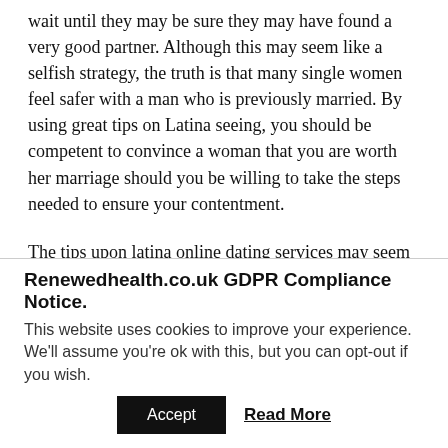wait until they may be sure they may have found a very good partner. Although this may seem like a selfish strategy, the truth is that many single women feel safer with a man who is previously married. By using great tips on Latina seeing, you should be competent to convince a woman that you are worth her marriage should you be willing to take the steps needed to ensure your contentment.
The tips upon latina online dating services may seem a little bit confusing, but if you take the time to figure out them, it will be easy to use them effectively. It is important that you realize that lots of men usually do
Renewedhealth.co.uk GDPR Compliance Notice.
This website uses cookies to improve your experience. We'll assume you're ok with this, but you can opt-out if you wish.
Accept | Read More